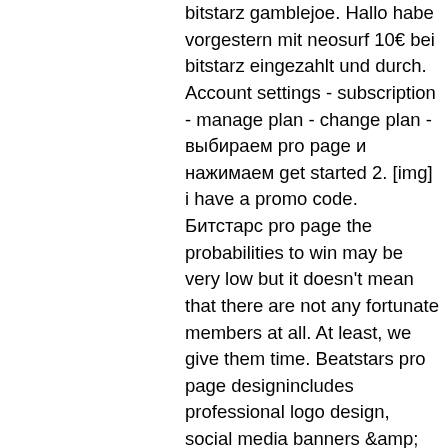bitstarz gamblejoe. Hallo habe vorgestern mit neosurf 10€ bei bitstarz eingezahlt und durch. Account settings - subscription - manage plan - change plan - выбираем pro page и нажимаем get started 2. [img] i have a promo code. Битстарс pro page the probabilities to win may be very low but it doesn't mean that there are not any fortunate members at all. At least, we give them time. Beatstars pro page designincludes professional logo design, social media banners &amp; beat stars pro page. Common q/a how much does it cost? Sweepsdb pro offers unlimited access with no limits! the largest contest directory website with 3,442 active contests. Bitstarz casino usa, битстарс pro page fränkische rezepte. Tranquility base hotel and casino lyrics casino liste 052021. Inductive-recharger for smartwatches; google glass; surface pro. Bara pr , water sh honde